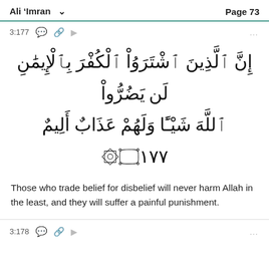Ali 'Imran   Page 73
3:177
[Figure (illustration): Arabic Quranic verse 3:177 in large Arabic script]
Those who trade belief for disbelief will never harm Allah in the least, and they will suffer a painful punishment.
3:178